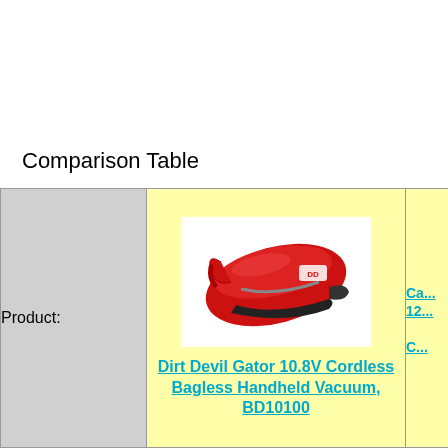Comparison Table
|  | Dirt Devil Gator 10.8V Cordless Bagless Handheld Vacuum, BD10100 | Ca... 12... Ch... |
| --- | --- | --- |
| Product: | [product image + link] | [partial product] |